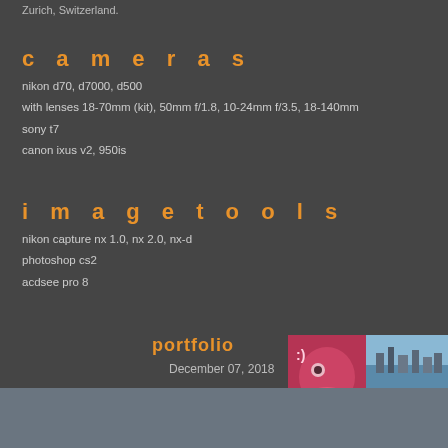Zurich, Switzerland.
cameras
nikon d70, d7000, d500
with lenses 18-70mm (kit), 50mm f/1.8, 10-24mm f/3.5, 18-140mm
sony t7
canon ixus v2, 950is
imagetools
nikon capture nx 1.0, nx 2.0, nx-d
photoshop cs2
acdsee pro 8
portfolio
December 07, 2018
[Figure (photo): Two thumbnail images side by side: left shows colorful graffiti/street art with a cartoon face; right shows two stacked images - top is a city skyline, bottom has red heart motif on green background.]